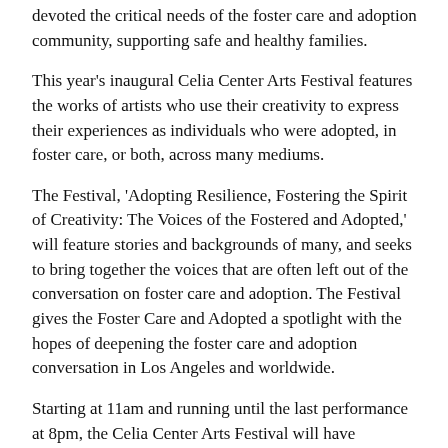devoted the critical needs of the foster care and adoption community, supporting safe and healthy families.
This year's inaugural Celia Center Arts Festival features the works of artists who use their creativity to express their experiences as individuals who were adopted, in foster care, or both, across many mediums.
The Festival, 'Adopting Resilience, Fostering the Spirit of Creativity: The Voices of the Fostered and Adopted,' will feature stories and backgrounds of many, and seeks to bring together the voices that are often left out of the conversation on foster care and adoption. The Festival gives the Foster Care and Adopted a spotlight with the hopes of deepening the foster care and adoption conversation in Los Angeles and worldwide.
Starting at 11am and running until the last performance at 8pm, the Celia Center Arts Festival will have activities for all ages, including an artists' panel, children's activities, healing workshops (you must sign up ahead of time), a